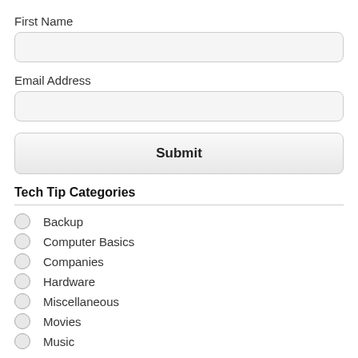First Name
Email Address
Submit
Tech Tip Categories
Backup
Computer Basics
Companies
Hardware
Miscellaneous
Movies
Music